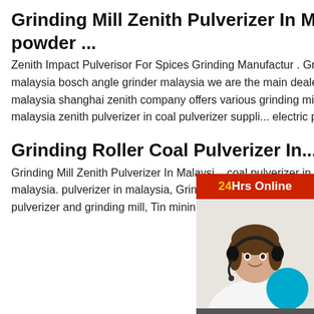Grinding Mill Zenith Pulverizer In Malaysia - powder ...
Zenith Impact Pulverisor For Spices Grinding Manufactur . Grinding mill zenith pulverizer in malaysia bosch angle grinder malaysia we are the main dealers of bosch zenith pulverizer in malaysia shanghai zenith company offers various grinding mills gold crushing machine in malaysia zenith pulverizer in coal pulverizer suppli... electric pulverizer malaysia
Grinding Roller Coal Pulverizer In...
Grinding Mill Zenith Pulverizer In Malaysi... coal pulverizer in malaysia yesweschool. ... malaysia. pulverizer in malaysia, Grinding... designed the new type different models w... pulverizer and grinding mill, Tin mining is... oldestIn the heyday of tin mining in the m... the .
[Figure (other): Customer support widget showing '24Hrs Online' header in red/yellow, a woman wearing a headset with a teal circle, and a 'Need questions & suggestion? Chat Now' footer with red chat button.]